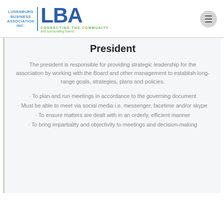[Figure (logo): Lunenburg Business Association Inc. LBA logo with tagline 'Connecting the Community and surrounding towns!']
President
The president is responsible for providing strategic leadership for the association by working with the Board and other management to establish long-range goals, strategies, plans and policies.
To plan and run meetings in accordance to the governing document
Must be able to meet via social media i.e. messenger, facetime and/or skype
To ensure matters are dealt with in an orderly, efficient manner
To bring impartiality and objectivity to meetings and decision-making